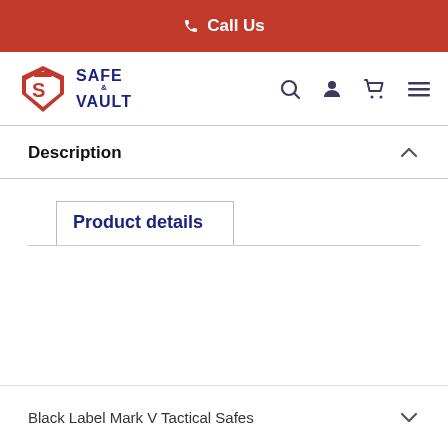Call Us
[Figure (logo): Safe & Vault store logo with red shield icon and blue SAFE & VAULT text]
Description
Product details
Black Label Mark V Tactical Safes